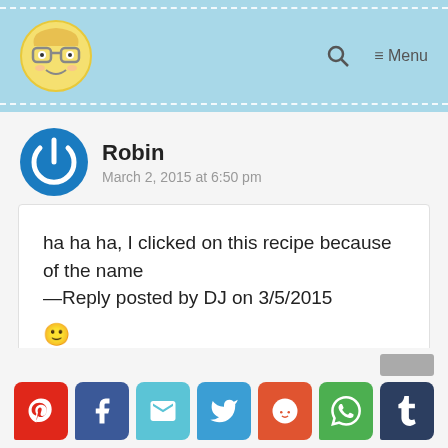Robin — March 2, 2015 at 6:50 pm
ha ha ha, I clicked on this recipe because of the name —Reply posted by DJ on 3/5/2015 🙂
Reply